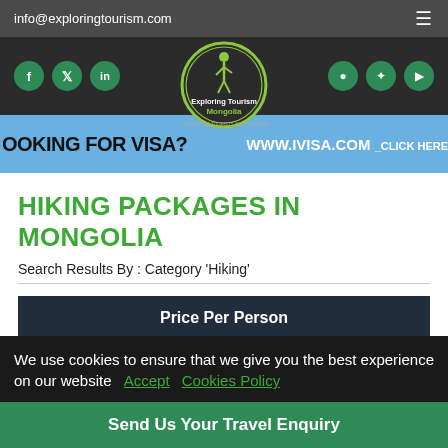info@exploringtourism.com
[Figure (logo): Exploring Tourism Mongolia logo — circular badge with hiker figure and text 'Exploring Tourism Mongolia' and 'Connecting Tourists With Tourism']
[Figure (infographic): Blue banner with text 'LOOKING FOR VISA?' on left and 'WWW.IVISA.COM _CLICK HERE' on right]
HIKING PACKAGES IN MONGOLIA
Search Results By : Category 'Hiking'
| Price Per Person |
| --- |
| Price on Request |
We use cookies to ensure that we give you the best experience on our website  Accept  Cookies Policy
Send Us Your Travel Enquiry